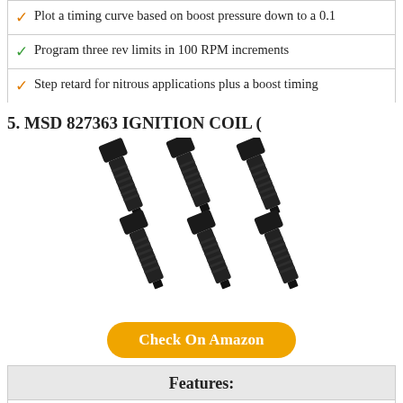Plot a timing curve based on boost pressure down to 0.1
Program three rev limits in 100 RPM increments
Step retard for nitrous applications plus a boost timing
5. MSD 827363 IGNITION COIL (
[Figure (photo): Six black ignition coils arranged in two rows of three]
Check On Amazon
Features:
Perfect replacement part or upgrade
Designed to deliver trouble-free, consistent performance
(partial, cut off)